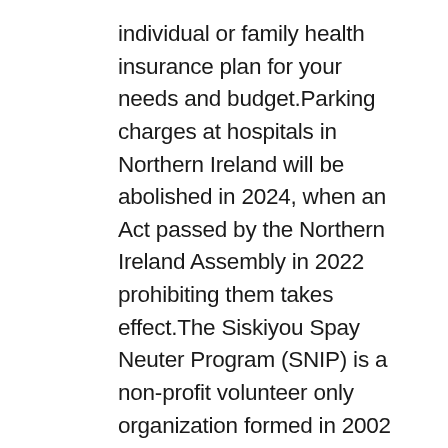individual or family health insurance plan for your needs and budget.Parking charges at hospitals in Northern Ireland will be abolished in 2024, when an Act passed by the Northern Ireland Assembly in 2022 prohibiting them takes effect.The Siskiyou Spay Neuter Program (SNIP) is a non-profit volunteer only organization formed in 2002 to help end dog and cat overpopulation in Siskiyou County through education, support can lamisil be used for yeast infections and need-based financial assistance to pet owners.Health care cooperatives number over 300 (of which 200 are related to) and provide health care for half the population; the national INSSJP (popularly known as PAMI) covers nearly all of the five million senior citizens.The Effect of Pumpkin (Cucurbita pepo L) Seeds and L-Arginine Supplementation on Serum